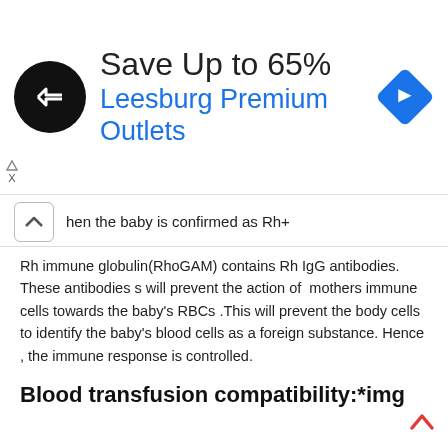[Figure (infographic): Advertisement banner: black circular logo with arrow symbol, text 'Save Up to 65%' in dark, 'Leesburg Premium Outlets' in blue, blue diamond arrow icon on right]
hen the baby is confirmed as Rh+
Rh immune globulin(RhoGAM) contains Rh IgG antibodies. These antibodies s will prevent the action of mothers immune cells towards the baby's RBCs .This will prevent the body cells to identify the baby's blood cells as a foreign substance. Hence , the immune response is controlled.
Blood transfusion compatibility:*img
blood transfusion are very critical. This is because one blood group may not be compatible with the other blood group. Blood transfusions are avoided for incompatible blood groups. incompatible blood group transfusion may lead to fatal toxic reaction in the patients body.